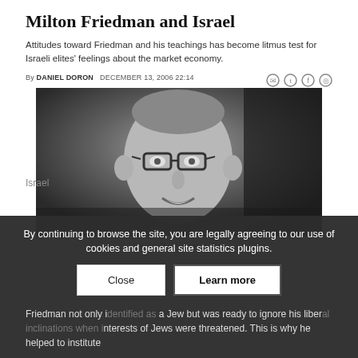Milton Friedman and Israel
Attitudes toward Friedman and his teachings has become litmus test for Israeli elites' feelings about the market economy.
By DANIEL DORON  DECEMBER 13, 2006 22:14
[Figure (photo): Black and white portrait photograph of Milton Friedman wearing glasses, smiling]
Link to The Jerusalem Post
By continuing to browse the site, you are legally agreeing to our use of cookies and general site statistics plugins.
Friedman not only identified as a Jew but was ready to ignore his liberal inclinations when interests of Jews were threatened. This is why he helped to institute